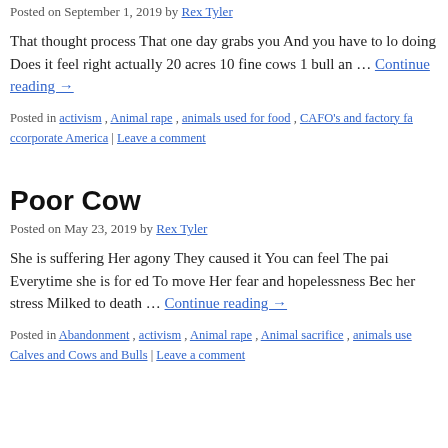Posted on September 1, 2019 by Rex Tyler
That thought process That one day grabs you And you have to look at what you are doing Does it feel right actually 20 acres 10 fine cows 1 bull and … Continue reading →
Posted in activism , Animal rape , animals used for food , CAFO's and factory fa ccorporate America | Leave a comment
Poor Cow
Posted on May 23, 2019 by Rex Tyler
She is suffering Her agony They caused it You can feel The pain Everytime she is for ed To move Her fear and hopelessness Bec her stress Milked to death … Continue reading →
Posted in Abandonment , activism , Animal rape , Animal sacrifice , animals use Calves and Cows and Bulls | Leave a comment